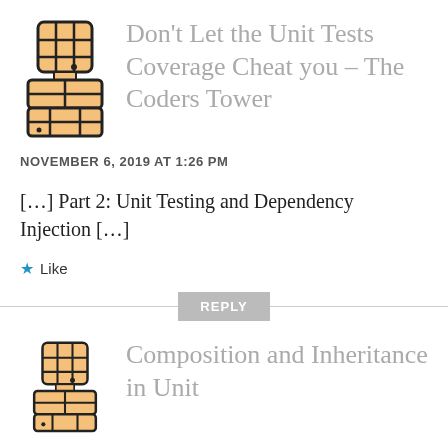[Figure (illustration): Pixel-art robot/character avatar icon with orange and black colors, used as commenter avatar]
Don't Let the Unit Tests Coverage Cheat you – The Coders Tower
NOVEMBER 6, 2019 AT 1:26 PM
[…] Part 2: Unit Testing and Dependency Injection […]
Like
REPLY
[Figure (illustration): Pixel-art robot/character avatar icon with orange and black colors, used as second commenter avatar]
Composition and Inheritance in Unit